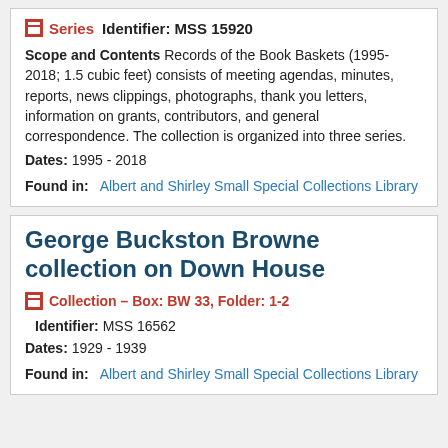Series   Identifier: MSS 15920
Scope and Contents Records of the Book Baskets (1995-2018; 1.5 cubic feet) consists of meeting agendas, minutes, reports, news clippings, photographs, thank you letters, information on grants, contributors, and general correspondence. The collection is organized into three series.
Dates: 1995 - 2018
Found in:   Albert and Shirley Small Special Collections Library
George Buckston Browne collection on Down House
Collection – Box: BW 33, Folder: 1-2
Identifier: MSS 16562
Dates: 1929 - 1939
Found in:   Albert and Shirley Small Special Collections Library